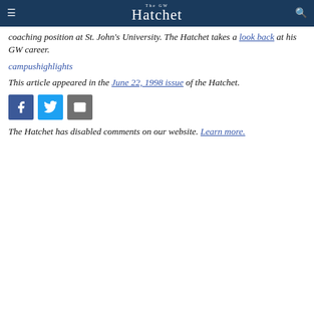The GW Hatchet
coaching position at St. John's University. The Hatchet takes a look back at his GW career.
[Figure (other): campushighlights image link]
This article appeared in the June 22, 1998 issue of the Hatchet.
[Figure (other): Social sharing buttons: Facebook, Twitter, Email]
The Hatchet has disabled comments on our website. Learn more.